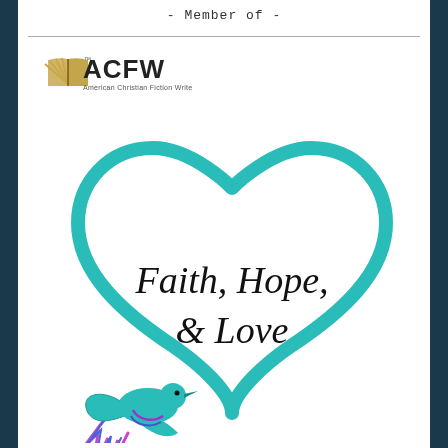- Member of -
[Figure (logo): ACFW - American Christian Fiction Writers logo with open book graphic and text]
[Figure (illustration): Teal heart outline with italic text 'Faith, Hope, & Love' inside, and a colorful bird (teal, purple, blue) perched at the bottom left of the heart]